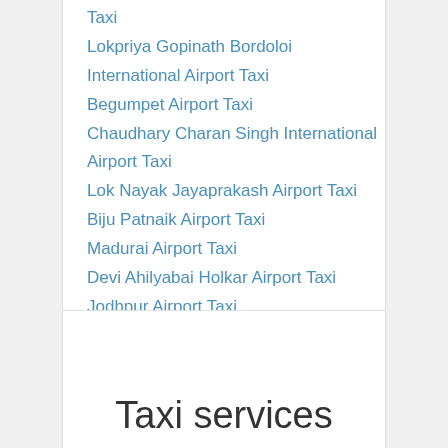Taxi
Lokpriya Gopinath Bordoloi International Airport Taxi
Begumpet Airport Taxi
Chaudhary Charan Singh International Airport Taxi
Lok Nayak Jayaprakash Airport Taxi
Biju Patnaik Airport Taxi
Madurai Airport Taxi
Devi Ahilyabai Holkar Airport Taxi
Jodhpur Airport Taxi
Chandigarh Airport Taxi
Bagdogra Airport Taxi
Taxi services